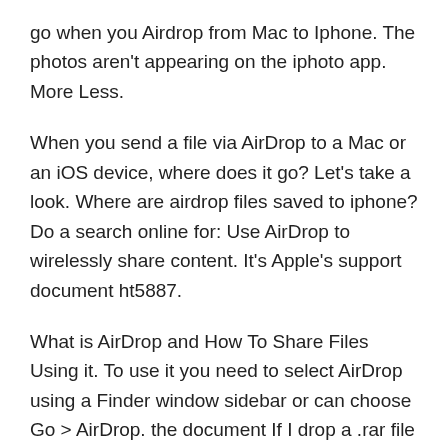go when you Airdrop from Mac to Iphone. The photos aren't appearing on the iphoto app. More Less.
When you send a file via AirDrop to a Mac or an iOS device, where does it go? Let's take a look. Where are airdrop files saved to iphone? Do a search online for: Use AirDrop to wirelessly share content. It's Apple's support document ht5887.
What is AirDrop and How To Share Files Using it. To use it you need to select AirDrop using a Finder window sidebar or can choose Go > AirDrop. the document If I drop a .rar file from my Mac to my iPhone, the dialog will include an option to open the file with the Documents app. Where Do AirDrop Files Go on Mac?
When you send a file via AirDrop to a Mac or an iOS device,